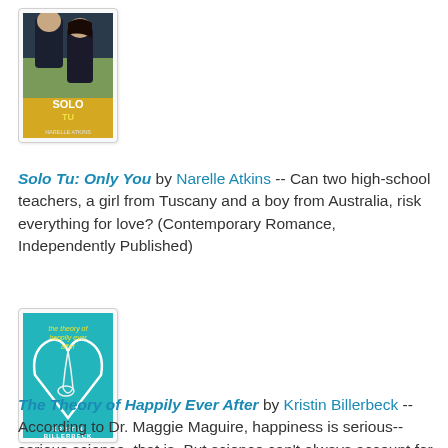[Figure (photo): Book cover of 'Solo Tu: Only You' by Narelle Atkins showing a man and woman standing together with sunflowers and Italian landscape in background]
Solo Tu: Only You by Narelle Atkins -- Can two high-school teachers, a girl from Tuscany and a boy from Australia, risk everything for love? (Contemporary Romance, Independently Published)
[Figure (photo): Book cover of 'The Theory of Happily Ever After' by Kristin Billerbeck with teal background and heart shape made of ribbon]
The Theory of Happily Ever After by Kristin Billerbeck -- According to Dr. Maggie Maguire, happiness is serious-- serious science, that is. But science can't always account for